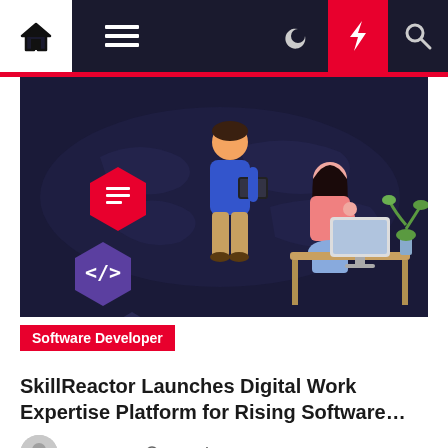Navigation bar with home, menu, moon, bolt, and search icons
[Figure (illustration): Digital work illustration showing two people with coding/tech icons on a dark navy world map background. A standing person holds a laptop and a seated woman works at a desk with a monitor. Floating icons include a code bracket symbol, a document, and a wrench.]
Software Developer
SkillReactor Launches Digital Work Expertise Platform for Rising Software...
Evoz Tech  2 months ago
Software program engineers are in better demand than ever earlier than. Nearly every thing we do depends upon using know-how and